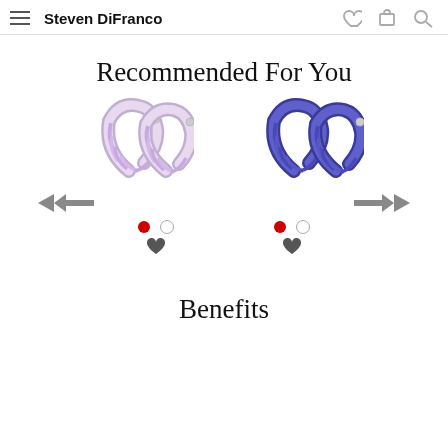Steven DiFranco
Recommended For You
[Figure (photo): Two pairs of crystal hoop earrings: left pair is lavender/pink baguette crystal hoops in silver setting; right pair is blue/purple crystal hoops in silver setting]
Benefits